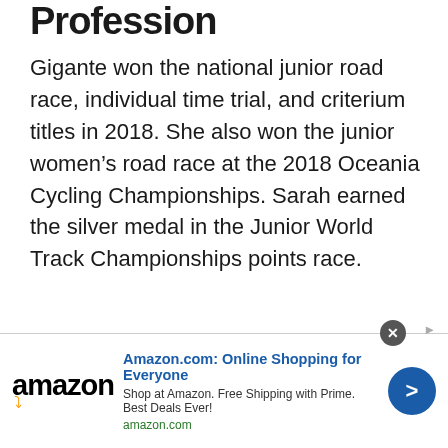Profession
Gigante won the national junior road race, individual time trial, and criterium titles in 2018. She also won the junior women’s road race at the 2018 Oceania Cycling Championships. Sarah earned the silver medal in the Junior World Track Championships points race.
[Figure (other): Amazon advertisement banner with Amazon logo, the text 'Amazon.com: Online Shopping for Everyone', subtitle 'Shop at Amazon. Free Shipping with Prime. Best Deals Ever!', amazon.com URL, a close button, and a blue circular arrow button.]